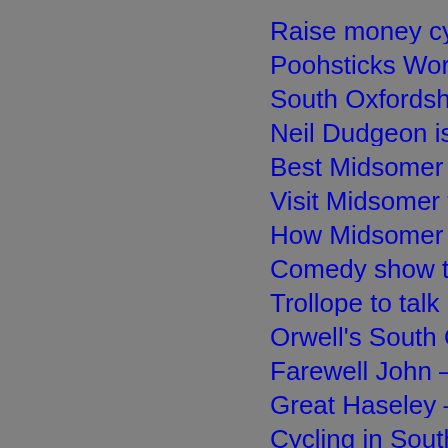Raise money cycling in South …
Poohsticks World Championsh…
South Oxfordshire spa breaks …
Neil Dudgeon is the new Barna…
Best Midsomer tweets – Publis…
Visit Midsomer for the Henley F…
How Midsomer Murders said 'g…
Comedy show to reveal darksi…
Trollope to talk in South Oxforc…
Orwell's South Oxfordshire res…
Farewell John – Published 20t…
Great Haseley – a place to inv…
Cycling in South Oxfordshire –…